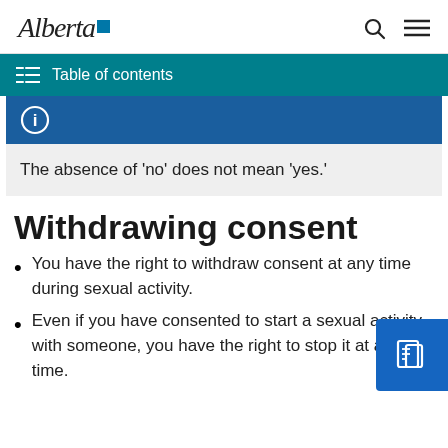Alberta [logo]
Table of contents
The absence of 'no' does not mean 'yes.'
Withdrawing consent
You have the right to withdraw consent at any time during sexual activity.
Even if you have consented to start a sexual activity with someone, you have the right to stop it at any time.